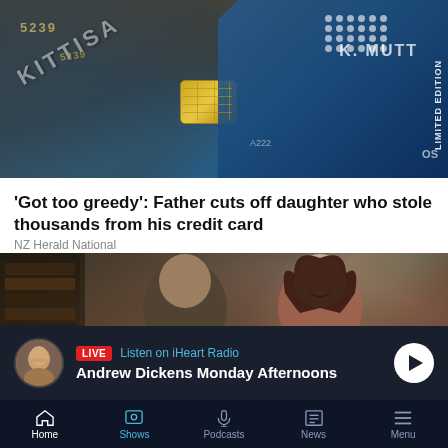[Figure (photo): Close-up photo of credit cards stacked on each other, showing card numbers, chip, and 'LIMITED EDITION' text]
'Got too greedy': Father cuts off daughter who stole thousands from his credit card
NZ Herald National
[Figure (photo): Photo of two people (a man in a suit and a woman) sitting together in an office setting, smiling]
LIVE  Listen on iHeart Radio
Andrew Dickens Monday Afternoons
Home  Shows  Podcasts  News  Menu